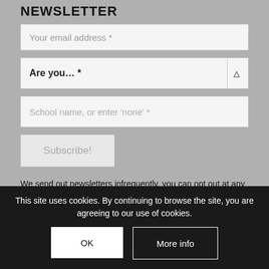NEWSLETTER
Your email address *
Are you... *
School name, or enter 'none' *
Subscribe!
We send out newsletters infrequently, you can opt out at any time, and we won't pass your details on to anyone else. There are currently 536 subscribers. Your details will be held in accordance with our privacy policy, and you can unsubscribe at any time.
This site uses cookies. By continuing to browse the site, you are agreeing to our use of cookies.
OK
More info